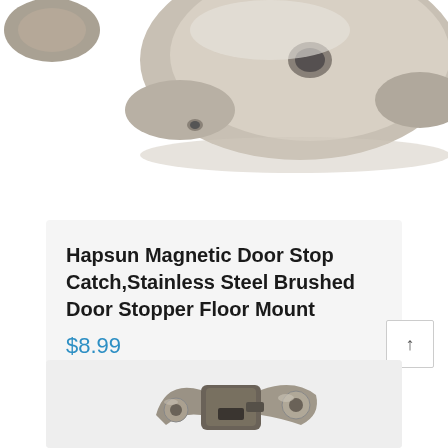[Figure (photo): Stainless steel brushed door stopper floor mount hardware, partially cropped at top of page, shown from above on white background]
Hapsun Magnetic Door Stop Catch,Stainless Steel Brushed Door Stopper Floor Mount
$8.99
[Figure (photo): Second product image showing metal door stop catch hardware components, partially visible at bottom of page]